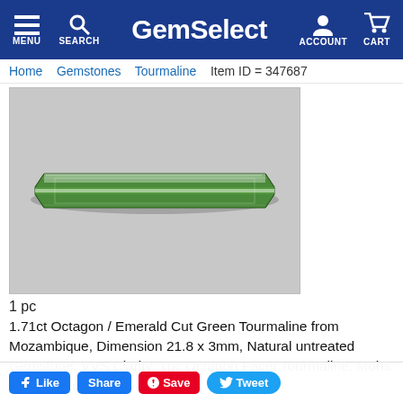GemSelect — MENU SEARCH ACCOUNT CART
Home   Gemstones   Tourmaline   Item ID = 347687
[Figure (photo): An elongated octagon/emerald cut green tourmaline gemstone photographed on a gray background. The stone is long, narrow and faceted with a vivid green color.]
1 pc
1.71ct Octagon / Emerald Cut Green Tourmaline from Mozambique, Dimension 21.8 x 3mm, Natural untreated Gemstone, VVS Clarity, 1pc Octagon Facet Tourmaline, Mohs Hardness of …